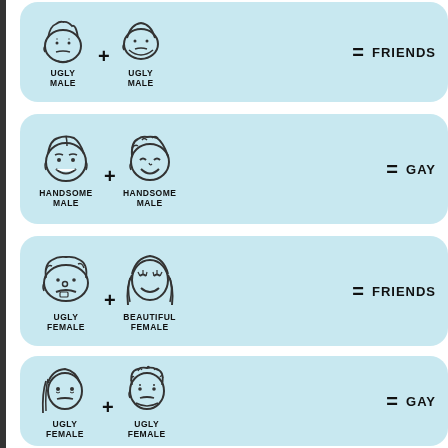[Figure (illustration): Panel 1: Ugly Male + Ugly Male = FRIENDS. Two cartoon ugly male faces side by side with a plus sign, equals sign, and the word FRIENDS.]
[Figure (illustration): Panel 2: Handsome Male + Handsome Male = GAY. Two cartoon handsome male faces with a plus sign, equals sign, and the word GAY.]
[Figure (illustration): Panel 3: Ugly Female + Beautiful Female = FRIENDS. Two cartoon female faces with a plus sign, equals sign, and the word FRIENDS.]
[Figure (illustration): Panel 4: Ugly Female + Ugly Female = GAY. Two cartoon ugly female faces with a plus sign, equals sign, and the word GAY.]